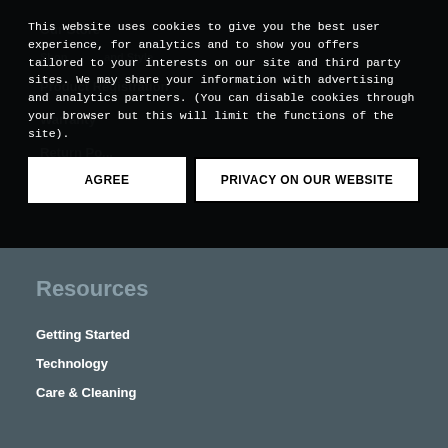This website uses cookies to give you the best user experience, for analytics and to show you offers tailored to your interests on our site and third party sites. We may share your information with advertising and analytics partners. (You can disable cookies through your browser but this will limit the functions of the site).
AGREE
PRIVACY ON OUR WEBSITE
Resources
Getting Started
Technology
Care & Cleaning